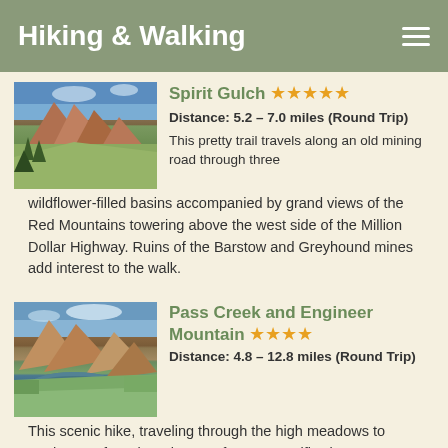Hiking & Walking
Spirit Gulch ★★★★★
Distance: 5.2 – 7.0 miles (Round Trip)
This pretty trail travels along an old mining road through three wildflower-filled basins accompanied by grand views of the Red Mountains towering above the west side of the Million Dollar Highway. Ruins of the Barstow and Greyhound mines add interest to the walk.
[Figure (photo): Mountain landscape with red rocky peaks, green slopes, and blue sky for Spirit Gulch trail]
Pass Creek and Engineer Mountain ★★★★
Distance: 4.8 – 12.8 miles (Round Trip)
This scenic hike, traveling through the high meadows to northwest of Coal Bank Pass, features terrific views
[Figure (photo): Mountain landscape with alpine lake, red rocky peaks and green meadows for Pass Creek and Engineer Mountain trail]